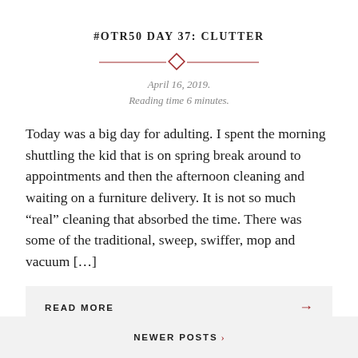#OTR50 DAY 37: CLUTTER
[Figure (other): Decorative horizontal divider with a diamond shape in the center, flanked by two dark red horizontal lines]
April 16, 2019.
Reading time 6 minutes.
Today was a big day for adulting. I spent the morning shuttling the kid that is on spring break around to appointments and then the afternoon cleaning and waiting on a furniture delivery. It is not so much “real” cleaning that absorbed the time. There was some of the traditional, sweep, swiffer, mop and vacuum […]
READ MORE →
NEWER POSTS ›